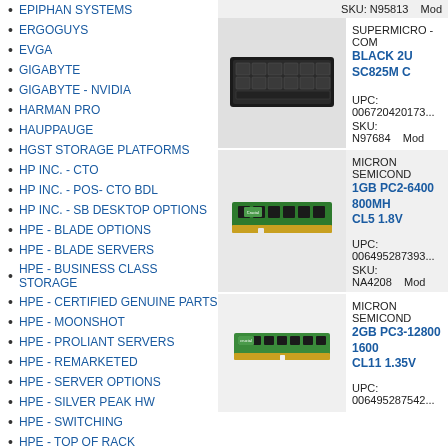EPIPHAN SYSTEMS
ERGOGUYS
EVGA
GIGABYTE
GIGABYTE - NVIDIA
HARMAN PRO
HAUPPAUGE
HGST STORAGE PLATFORMS
HP INC. - CTO
HP INC. - POS- CTO BDL
HP INC. - SB DESKTOP OPTIONS
HPE - BLADE OPTIONS
HPE - BLADE SERVERS
HPE - BUSINESS CLASS STORAGE
HPE - CERTIFIED GENUINE PARTS
HPE - MOONSHOT
HPE - PROLIANT SERVERS
HPE - REMARKETED
HPE - SERVER OPTIONS
HPE - SILVER PEAK HW
HPE - SWITCHING
HPE - TOP OF RACK
HPE - VISTA
HPE CERTIFIED GENUINE PARTS
HPE ISS ELECTRONIC LICS
SKU: N95813    Mod
[Figure (photo): Server chassis - black 2U SC825M server]
SUPERMICRO - COM
BLACK 2U SC825M C
UPC: 006720420173...
SKU: N97684    Mod
[Figure (photo): Green DDR2 RAM stick - 1GB PC2-6400 800MHz CL5 1.8V]
MICRON SEMICOND
1GB PC2-6400 800MH... CL5 1.8V
UPC: 0064952873939...
SKU: NA4208    Mod
[Figure (photo): Green SO-DIMM RAM module - 2GB PC3-12800 1600MHz CL11 1.35V]
MICRON SEMICOND
2GB PC3-12800 1600... CL11 1.35V
UPC: 006495287542...